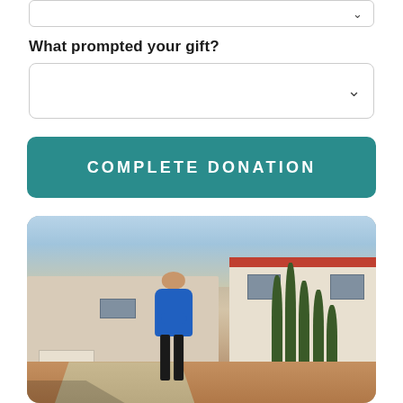[Figure (other): Dropdown input box (partial, top of page)]
What prompted your gift?
[Figure (other): Dropdown select box for gift prompt]
[Figure (other): COMPLETE DONATION button, teal/green rounded rectangle]
[Figure (photo): Man in blue shirt standing outside a Southwestern-style building with tall cypress trees, blue sky]